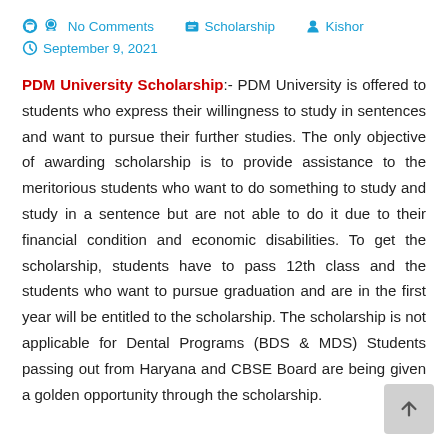No Comments   Scholarship   Kishor   September 9, 2021
PDM University Scholarship:- PDM University is offered to students who express their willingness to study in sentences and want to pursue their further studies. The only objective of awarding scholarship is to provide assistance to the meritorious students who want to do something to study and study in a sentence but are not able to do it due to their financial condition and economic disabilities. To get the scholarship, students have to pass 12th class and the students who want to pursue graduation and are in the first year will be entitled to the scholarship. The scholarship is not applicable for Dental Programs (BDS & MDS) Students passing out from Haryana and CBSE Board are being given a golden opportunity through the scholarship.